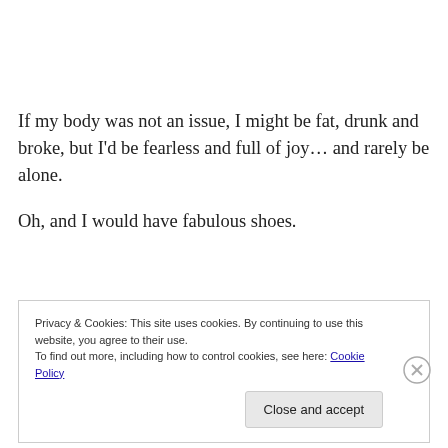If my body was not an issue, I might be fat, drunk and broke, but I’d be fearless and full of joy… and rarely be alone.

Oh, and I would have fabulous shoes.
Privacy & Cookies: This site uses cookies. By continuing to use this website, you agree to their use.
To find out more, including how to control cookies, see here: Cookie Policy